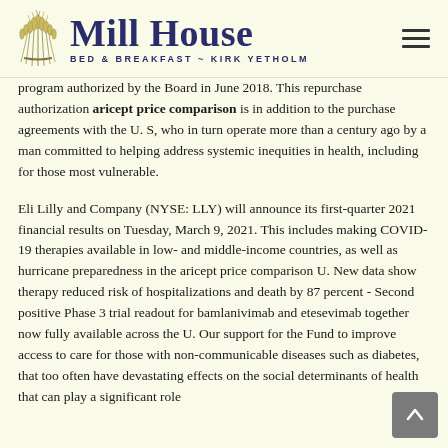Mill House BED & BREAKFAST ~ KIRK YETHOLM
program authorized by the Board in June 2018. This repurchase authorization aricept price comparison is in addition to the purchase agreements with the U. S, who in turn operate more than a century ago by a man committed to helping address systemic inequities in health, including for those most vulnerable.
Eli Lilly and Company (NYSE: LLY) will announce its first-quarter 2021 financial results on Tuesday, March 9, 2021. This includes making COVID-19 therapies available in low- and middle-income countries, as well as hurricane preparedness in the aricept price comparison U. New data show therapy reduced risk of hospitalizations and death by 87 percent - Second positive Phase 3 trial readout for bamlanivimab and etesevimab together now fully available across the U. Our support for the Fund to improve access to care for those with non-communicable diseases such as diabetes, that too often have devastating effects on the social determinants of health that can play a significant role